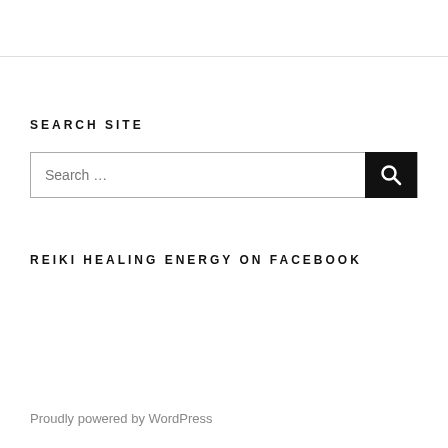SEARCH SITE
[Figure (other): Search input box with black search button icon on the right]
REIKI HEALING ENERGY ON FACEBOOK
Proudly powered by WordPress